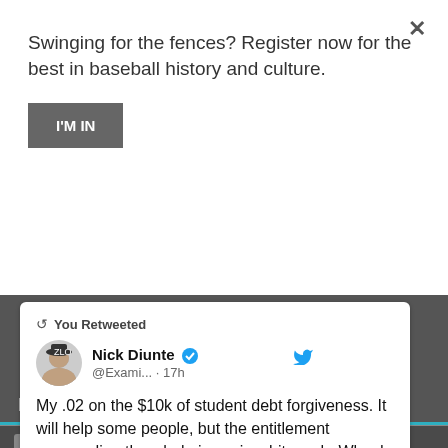Swinging for the fences? Register now for the best in baseball history and culture.
I'M IN
[Figure (screenshot): Tweet card showing 'You Retweeted' from Nick Diunte @Exami... 17h with tweet text about student debt forgiveness]
Posts Currently Being Viewed
Jose Offerman throws a punch at an umpire
0 0  0 N. Diunte  2010-01-17